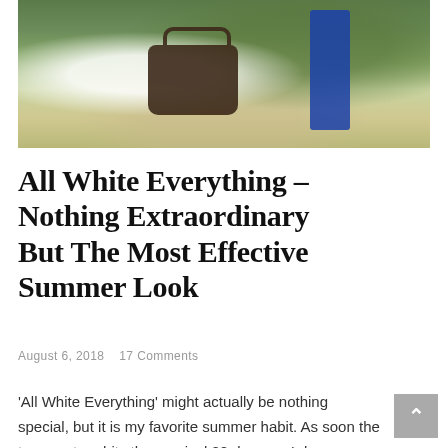[Figure (photo): Woman in white outfit holding a Fendi monogram handbag, surrounded by tropical/garden plants with a blue door or wall visible in background]
All White Everything – Nothing Extraordinary But The Most Effective Summer Look
August 6, 2018    17 Comments
'All White Everything' might actually be nothing special, but it is my favorite summer habit. As soon the temperature hits the magical 20 degrees I drag